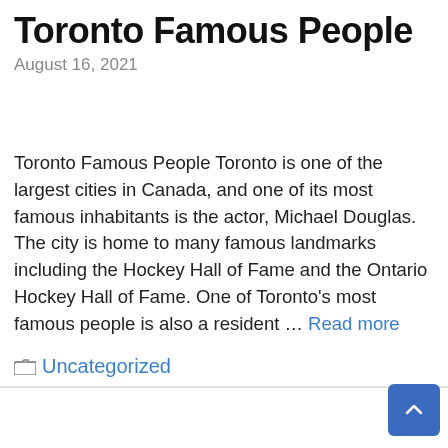Toronto Famous People
August 16, 2021
Toronto Famous People Toronto is one of the largest cities in Canada, and one of its most famous inhabitants is the actor, Michael Douglas. The city is home to many famous landmarks including the Hockey Hall of Fame and the Ontario Hockey Hall of Fame. One of Toronto's most famous people is also a resident … Read more
Categories: Uncategorized